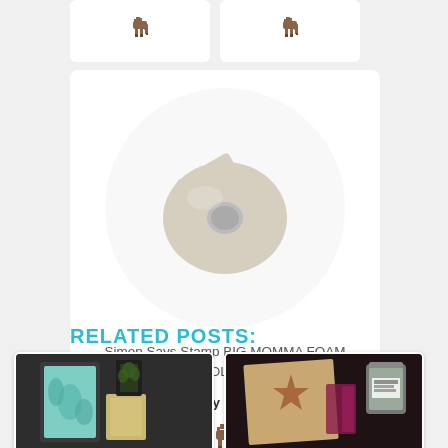[Figure (photo): Two product card stubs at top showing deer/donkey icons on white card backgrounds]
[Figure (photo): Product card for Simon Says Stamp BIG MOMMA FOAM TAPE ROLL Foam72 showing a foam tape roll on white circle background, with 'buy from' text and a deer/donkey shop icon below]
Simon Says Stamp BIG MOMMA FOAM TAPE ROLL Foam72
buy from
RELATED POSTS:
[Figure (photo): Related post thumbnail showing a framed artwork with leaf/botanical design on dark background]
[Figure (photo): Related post thumbnail showing a star-shaped stamped image on kraft paper with ink and embellishments on dark background]